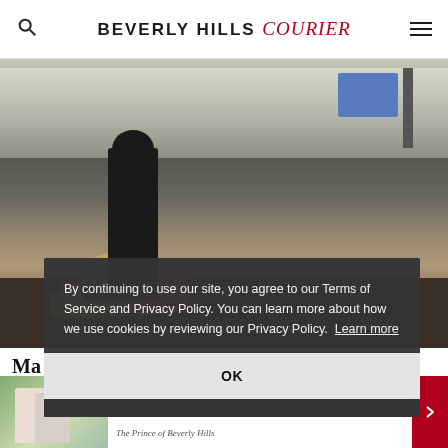BEVERLY HILLS Courier
[Figure (photo): A person in dark clothing working with a dog on a pink mat on the floor of an indoor facility, with a blue screen visible in the background.]
Ma... Pr...
By T... appe...
[Figure (photo): Bottom thumbnail image showing a couple outdoors, The Prince of Beverly Hills caption]
The Prince of Beverly Hills
By continuing to use our site, you agree to our Terms of Service and Privacy Policy. You can learn more about how we use cookies by reviewing our Privacy Policy. Learn more
OK